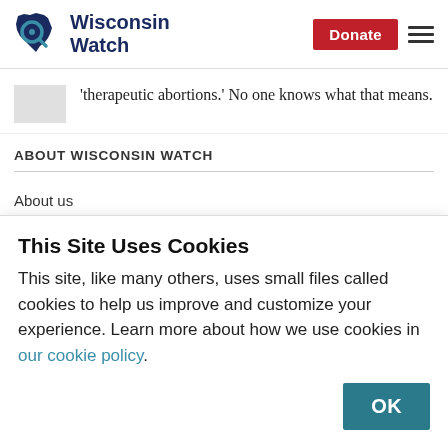Wisconsin Watch
'therapeutic abortions.' No one knows what that means.
ABOUT WISCONSIN WATCH
About us
How we work
Our people
This Site Uses Cookies
This site, like many others, uses small files called cookies to help us improve and customize your experience. Learn more about how we use cookies in our cookie policy.